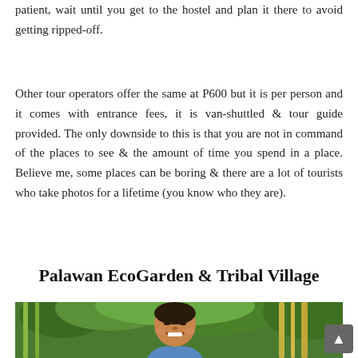patient, wait until you get to the hostel and plan it there to avoid getting ripped-off.
Other tour operators offer the same at P600 but it is per person and it comes with entrance fees, it is van-shuttled & tour guide provided. The only downside to this is that you are not in command of the places to see & the amount of time you spend in a place. Believe me, some places can be boring & there are a lot of tourists who take photos for a lifetime (you know who they are).
Palawan EcoGarden & Tribal Village
[Figure (photo): A smiling man photographed outdoors among green trees and bamboo, appearing to be at Palawan EcoGarden & Tribal Village.]